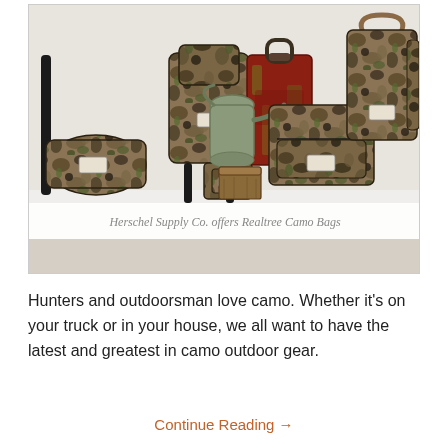[Figure (photo): A collection of Herschel Supply Co. bags in Realtree camo pattern arranged together with vintage metal canisters in the background. Items include a backpack, duffel bag, tote bag, and several smaller pouches/cases, all featuring the same woodland camouflage fabric.]
Herschel Supply Co. offers Realtree Camo Bags
Hunters and outdoorsman love camo. Whether it's on your truck or in your house, we all want to have the latest and greatest in camo outdoor gear.
Continue Reading →